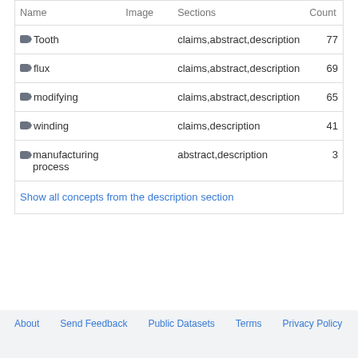| Name | Image | Sections | Count |
| --- | --- | --- | --- |
| Tooth |  | claims,abstract,description | 77 |
| flux |  | claims,abstract,description | 69 |
| modifying |  | claims,abstract,description | 65 |
| winding |  | claims,description | 41 |
| manufacturing process |  | abstract,description | 3 |
| Show all concepts from the description section |  |  |  |
About   Send Feedback   Public Datasets   Terms
Privacy Policy